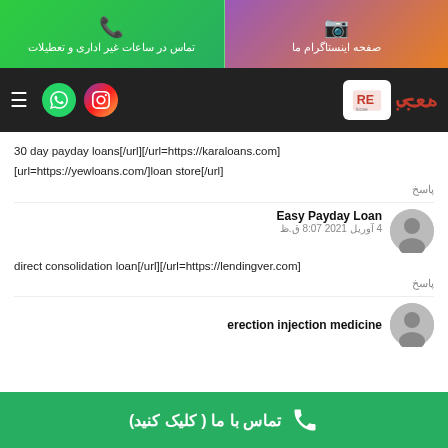تماس در ساعات غیر اداری و تعطیلات | صفحه اینستاگرام ما
[Figure (logo): Lucee brand logo with navigation bar including hamburger menu, WhatsApp and Instagram icons]
30 day payday loans[/url][/url=https://karaloans.com]
[url=https://yewloans.com/]loan store[/url]
پاسخ
Easy Payday Loan
4 آوریل 2021 8:07 ق.ظ
direct consolidation loan[/url][/url=https://lendingver.com]
پاسخ
erection injection medicine
تماس با ما ( کلیک کنید)